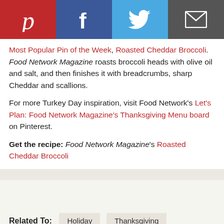[Figure (infographic): Social share buttons bar: Pinterest (red), Facebook (dark blue), Twitter (light blue), Email (dark gray)]
Most Popular Pin of the Week, Roasted Cheddar Broccoli. Food Network Magazine roasts broccoli heads with olive oil and salt, and then finishes it with breadcrumbs, sharp Cheddar and scallions.
For more Turkey Day inspiration, visit Food Network's Let's Plan: Food Network Magazine's Thanksgiving Menu board on Pinterest.
Get the recipe: Food Network Magazine's Roasted Cheddar Broccoli
Related To: Holiday  Thanksgiving